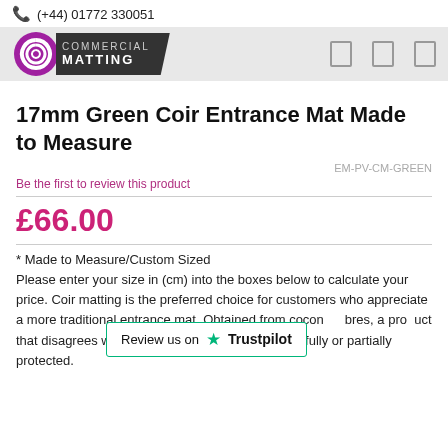(+44) 01772 330051
[Figure (logo): Commercial Matting logo with purple spiral roll icon and dark banner with text COMMERCIAL MATTING]
17mm Green Coir Entrance Mat Made to Measure
EM-PV-CM-GREEN
Be the first to review this product
£66.00
* Made to Measure/Custom Sized
Please enter your size in (cm) into the boxes below to calculate your price. Coir matting is the preferred choice for customers who appreciate a more traditional entrance mat. Obtained from cocon... oduct that disagrees with the British... hen either fully or partially protected.
[Figure (other): Trustpilot review banner: Review us on Trustpilot (green star)]